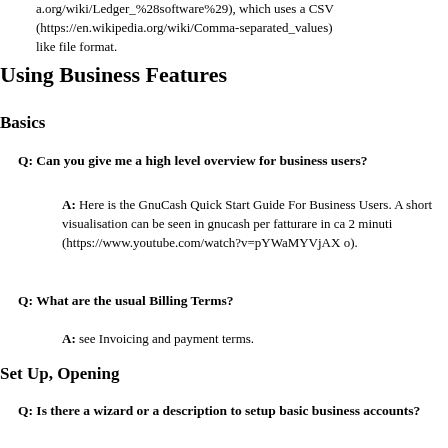a.org/wiki/Ledger_%28software%29), which uses a CSV (https://en.wikipedia.org/wiki/Comma-separated_values) like file format.
Using Business Features
Basics
Q: Can you give me a high level overview for business users?
A: Here is the GnuCash Quick Start Guide For Business Users. A short visualisation can be seen in gnucash per fatturare in ca 2 minuti (https://www.youtube.com/watch?v=pYWaMYVjAXo).
Q: What are the usual Billing Terms?
A: see Invoicing and payment terms.
Set Up, Opening
Q: Is there a wizard or a description to setup basic business accounts?